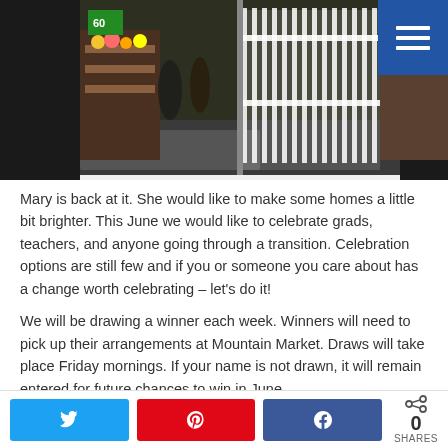[Figure (photo): Outdoor market scene with white picket gate/fence, flower displays and produce stands visible, with a blue navigation menu button (hamburger icon) in the top right corner]
Mary is back at it. She would like to make some homes a little bit brighter. This June we would like to celebrate grads, teachers, and anyone going through a transition. Celebration options are still few and if you or someone you care about has a change worth celebrating – let's do it!
We will be drawing a winner each week. Winners will need to pick up their arrangements at Mountain Market. Draws will take place Friday mornings. If your name is not drawn, it will remain entered for future chances to win in June.
Twitter share button | Pinterest share button | Facebook share button | 0 SHARES